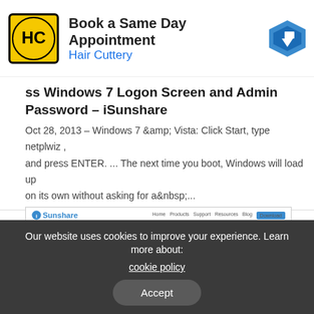[Figure (infographic): Advertisement banner for Hair Cuttery: 'Book a Same Day Appointment' with HC logo and navigation arrow icon]
ss Windows 7 Logon Screen and Admin Password – iSunshare
Oct 28, 2013 – Windows 7 &amp; Vista: Click Start, type netplwiz , and press ENTER. ... The next time you boot, Windows will load up on its own without asking for a&nbsp;...
[Figure (screenshot): Screenshot of iSunshare website showing 'Bypass Windows 7 Login Screen and Admin Password' article page with sidebar categories including Windows 7 Password, Windows 8 Password, Windows 8 Password, More links, and Hot Articles section.]
Our website uses cookies to improve your experience. Learn more about: cookie policy
Accept